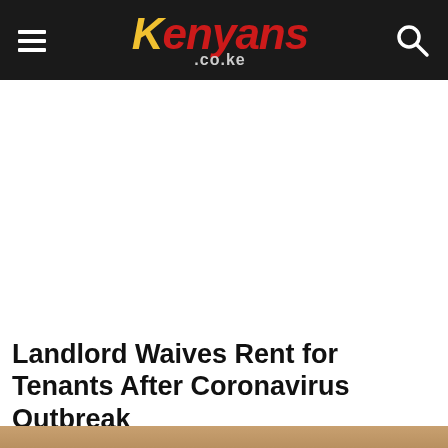Kenyans.co.ke
[Figure (other): Advertisement / blank white space placeholder]
Landlord Waives Rent for Tenants After Coronavirus Outbreak
By STEPHANIE WANGARI on 21 March 2020 - 8:58 pm
[Figure (photo): Partial image at the bottom of the page, cropped]